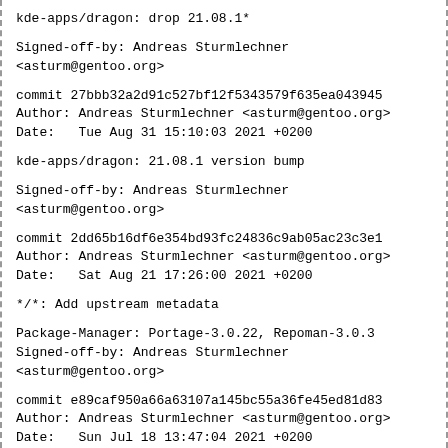kde-apps/dragon: drop 21.08.1*
Signed-off-by: Andreas Sturmlechner
<asturm@gentoo.org>
commit 27bbb32a2d91c527bf12f5343579f635ea043945
Author: Andreas Sturmlechner <asturm@gentoo.org>
Date: Tue Aug 31 15:10:03 2021 +0200
kde-apps/dragon: 21.08.1 version bump
Signed-off-by: Andreas Sturmlechner
<asturm@gentoo.org>
commit 2dd65b16df6e354bd93fc24836c9ab05ac23c3e1
Author: Andreas Sturmlechner <asturm@gentoo.org>
Date: Sat Aug 21 17:26:00 2021 +0200
*//*: Add upstream metadata
Package-Manager: Portage-3.0.22, Repoman-3.0.3
Signed-off-by: Andreas Sturmlechner
<asturm@gentoo.org>
commit e89caf950a66a63107a145bc55a36fe45ed81d83
Author: Andreas Sturmlechner <asturm@gentoo.org>
Date: Sun Jul 18 13:47:04 2021 +0200
*//*: EAPI-8